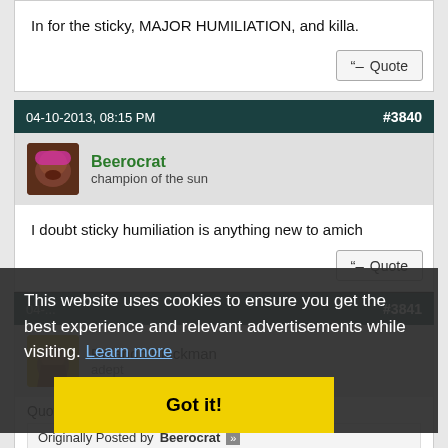In for the sticky, MAJOR HUMILIATION, and killa.
Quote
04-10-2013, 08:15 PM   #3840
Beerocrat
champion of the sun
I doubt sticky humiliation is anything new to amich
Quote
#3841
Rolando Blackman
adept
Quote:
Originally Posted by Beerocrat
This website uses cookies to ensure you get the best experience and relevant advertisements while visiting. Learn more
Got it!